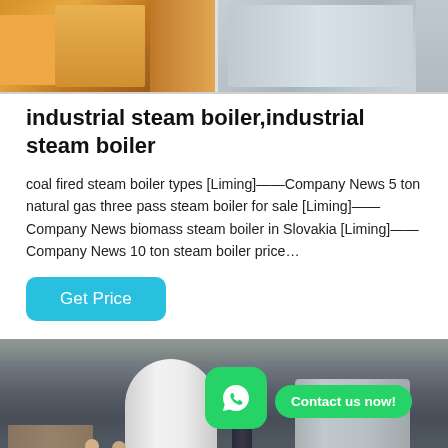[Figure (photo): Top photo showing industrial boiler manufacturing facility — orange forklift and machinery on left, metal cylindrical equipment on right]
industrial steam boiler,industrial steam boiler
coal fired steam boiler types [Liming]——Company News 5 ton natural gas three pass steam boiler for sale [Liming]——Company News biomass steam boiler in Slovakia [Liming]——Company News 10 ton steam boiler price…
[Figure (photo): Bottom photo showing industrial boiler workshop with tall white cylindrical boiler, dark pipe, wrapped boiler on right, workers in blue uniforms, WhatsApp contact button overlay]